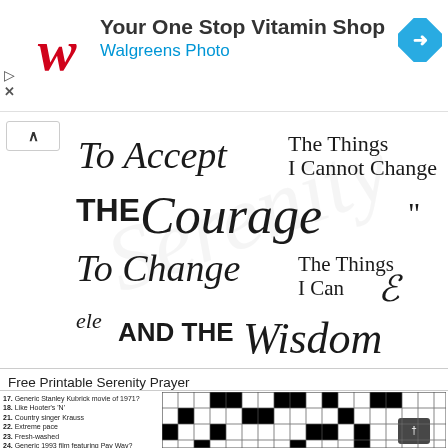[Figure (screenshot): Walgreens advertisement banner: 'Your One Stop Vitamin Shop / Walgreens Photo' with Walgreens cursive W logo and blue navigation arrow icon]
[Figure (illustration): Serenity Prayer typographic print: 'To Accept The Things I Cannot Change / THE Courage / To Change The Things I Can / AND THE Wisdom...' in mixed script and bold fonts on white background with faint watermark]
Free Printable Serenity Prayer
[Figure (other): Partial crossword puzzle grid (black and white squares) with clue numbers, alongside crossword clues text listing items 17-34+]
17. Generic Stanley Kubrick movie of 1971? 18. Like Hooter's 'N' 21. Country singer Krauss 22. Extreme pace 23. Fresh-washed 24. Generic 1993 film featuring Pay Way? 34. Sounds